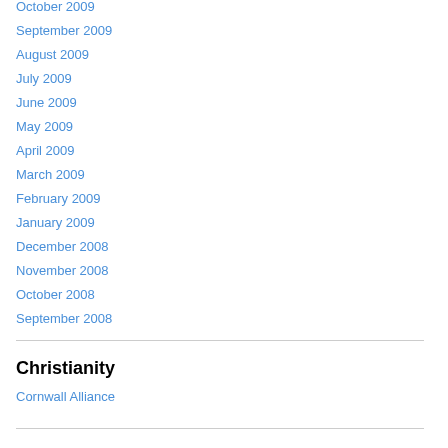October 2009
September 2009
August 2009
July 2009
June 2009
May 2009
April 2009
March 2009
February 2009
January 2009
December 2008
November 2008
October 2008
September 2008
Christianity
Cornwall Alliance